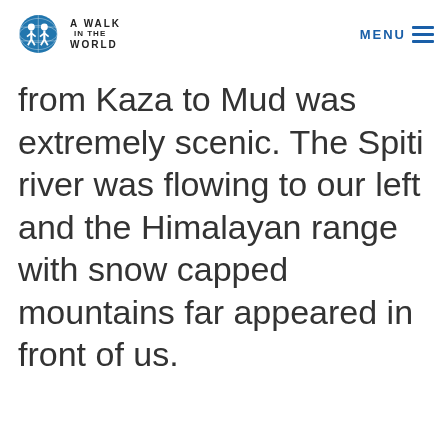A Walk in the World | MENU
from Kaza to Mud was extremely scenic. The Spiti river was flowing to our left and the Himalayan range with snow capped mountains far appeared in front of us.